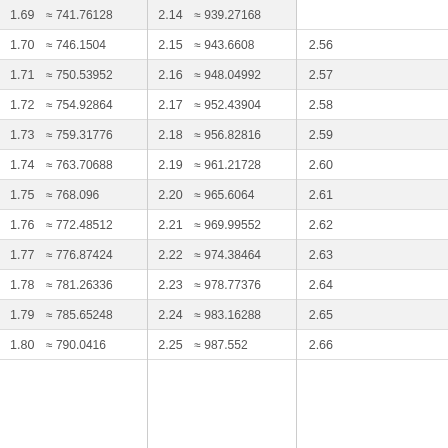| 1.69 | ≈ 741.76128 |
| 1.70 | ≈ 746.1504 |
| 1.71 | ≈ 750.53952 |
| 1.72 | ≈ 754.92864 |
| 1.73 | ≈ 759.31776 |
| 1.74 | ≈ 763.70688 |
| 1.75 | ≈ 768.096 |
| 1.76 | ≈ 772.48512 |
| 1.77 | ≈ 776.87424 |
| 1.78 | ≈ 781.26336 |
| 1.79 | ≈ 785.65248 |
| 1.80 | ≈ 790.0416 |
| 2.14 | ≈ 939.27168 |
| 2.15 | ≈ 943.6608 |
| 2.16 | ≈ 948.04992 |
| 2.17 | ≈ 952.43904 |
| 2.18 | ≈ 956.82816 |
| 2.19 | ≈ 961.21728 |
| 2.20 | ≈ 965.6064 |
| 2.21 | ≈ 969.99552 |
| 2.22 | ≈ 974.38464 |
| 2.23 | ≈ 978.77376 |
| 2.24 | ≈ 983.16288 |
| 2.25 | ≈ 987.552 |
| 2.56 |
| 2.57 |
| 2.58 |
| 2.59 |
| 2.60 |
| 2.61 |
| 2.62 |
| 2.63 |
| 2.64 |
| 2.65 |
| 2.66 |